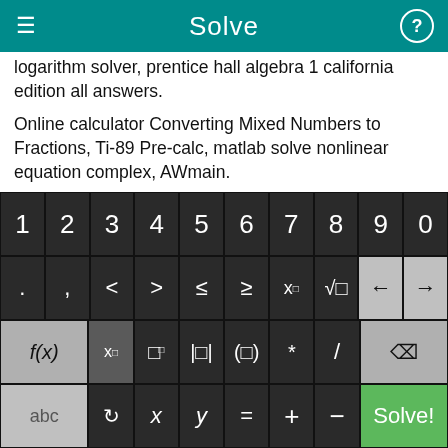Solve
logarithm solver, prentice hall algebra 1 california edition all answers.
Online calculator Converting Mixed Numbers to Fractions, Ti-89 Pre-calc, matlab solve nonlinear equation complex, AWmain.
8th grade math word problem california, how do you solve linear combination equation when both equations are of equal value?, math proportion formula, Maths program year 11 exercises, measurement grade 1printable work sheet, math test dividing
[Figure (screenshot): On-screen math keyboard with digit row (1-9,0), symbol row (. , < > ≤ ≥ x□ √□ ← →), function row (f(x) x□ fraction absolute-value grouping * / backspace), and bottom row (abc ↺ x y = + − Solve!)]